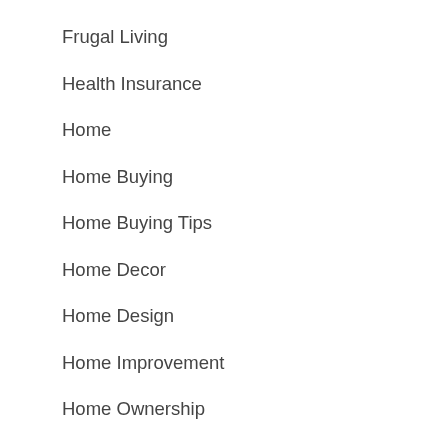Frugal Living
Health Insurance
Home
Home Buying
Home Buying Tips
Home Decor
Home Design
Home Improvement
Home Ownership
Home Repair
House Architecture
House Tips